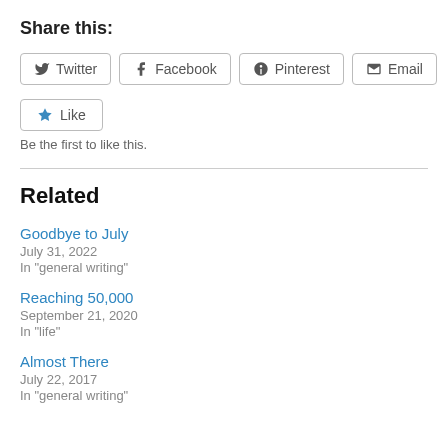Share this:
Twitter  Facebook  Pinterest  Email
Like  Be the first to like this.
Related
Goodbye to July
July 31, 2022
In "general writing"
Reaching 50,000
September 21, 2020
In "life"
Almost There
July 22, 2017
In "general writing"